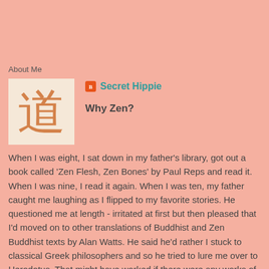About Me
[Figure (illustration): Square image with a pale background showing a Chinese/Japanese character (道, meaning 'Tao/Way') in orange color]
Secret Hippie
Why Zen?
When I was eight, I sat down in my father's library, got out a book called 'Zen Flesh, Zen Bones' by Paul Reps and read it. When I was nine, I read it again. When I was ten, my father caught me laughing as I flipped to my favorite stories. He questioned me at length - irritated at first but then pleased that I'd moved on to other translations of Buddhist and Zen Buddhist texts by Alan Watts. He said he'd rather I stuck to classical Greek philosophers and so he tried to lure me over to Herodotus. That might have worked if there were any works of note left of the pre-Socratic philosophers. As it was, the Zen and Daoist texts proved superior.
Why Not Zen?